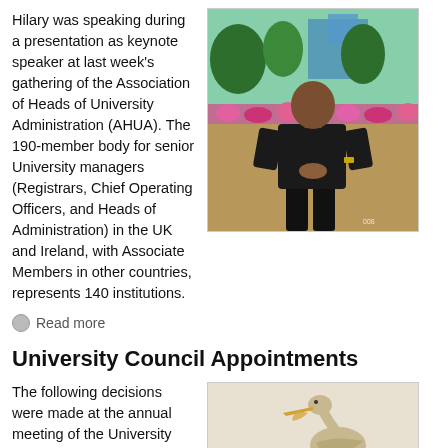Hilary was speaking during a presentation as keynote speaker at last week's gathering of the Association of Heads of University Administration (AHUA). The 190-member body for senior University managers (Registrars, Chief Operating Officers, and Heads of Administration) in the UK and Ireland, with Associate Members in other countries, represents 140 institutions.
[Figure (photo): A man dressed in black standing outdoors on a lawn with flowers and trees in the background]
Read more
University Council Appointments
The following decisions were made at the annual meeting of the University Council on Friday, April 30, which was
[Figure (photo): A pelican bird standing, partial view]